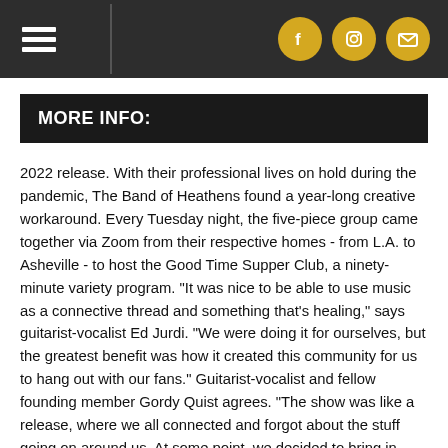Menu | Social icons (Facebook, Instagram, Email)
MORE INFO:
2022 release. With their professional lives on hold during the pandemic, The Band of Heathens found a year-long creative workaround. Every Tuesday night, the five-piece group came together via Zoom from their respective homes - from L.A. to Asheville - to host the Good Time Supper Club, a ninety-minute variety program. "It was nice to be able to use music as a connective thread and something that's healing," says guitarist-vocalist Ed Jurdi. "We were doing it for ourselves, but the greatest benefit was how it created this community for us to hang out with our fans." Guitarist-vocalist and fellow founding member Gordy Quist agrees. "The show was like a release, where we all connected and forgot about the stuff going on around us. At some point, we decided to bring in guests for an interview, and that turned into 'Hey, let's pre-record a music video of a cover song with each of them.'" That segment of the show, called Remote Transmissions, became a much-anticipated fan favorite each week. And it is now the title of their latest album, featuring covers of ten classic songs with guest vocals by the likes of Margo Price, Ray Wylie Hubbard and Charlie Starr. It's just the latest